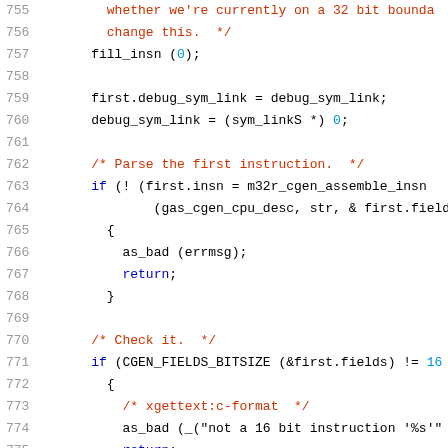Source code listing, lines 755-775, C programming language with syntax highlighting